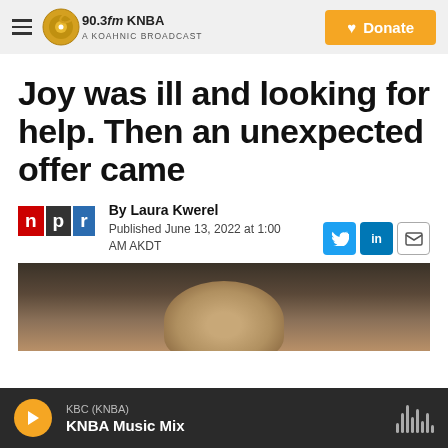90.3fm KNBA A KOAHNIC BROADCAST STATION | Donate
Joy was ill and looking for help. Then an unexpected offer came
By Laura Kwerel
Published June 13, 2022 at 1:00 AM AKDT
[Figure (photo): Partial photo of a person with curly hair, outdoors with green background]
KBC (KNBA) KNBA Music Mix